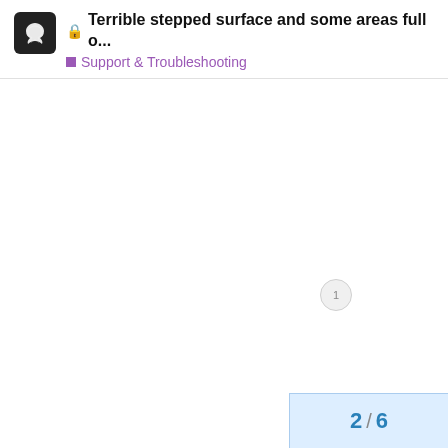🔒 Terrible stepped surface and some areas full o... | Support & Troubleshooting
[Figure (other): Large white blank area representing an image placeholder in a forum post. A small circular badge with the number 1 is visible near the center-right of the image area.]
2 / 6